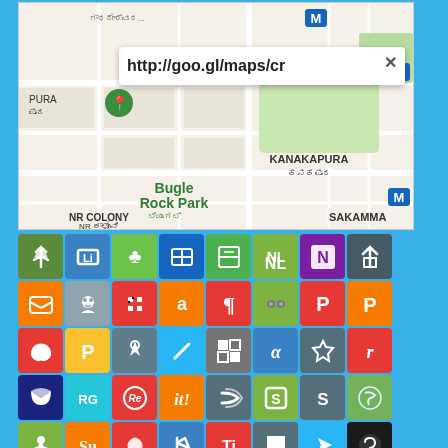[Figure (screenshot): Google Maps screenshot showing Bugle Rock Park area in Bangalore, India with Kannada text labels, metro station markers, and a URL bar showing http://goo.gl/maps/cr]
[Figure (screenshot): Grid of social media and app sharing icons including various apps like Pocket, Amazon, Flickr, Pinterest, Tumblr, Telegram, Viber and many others arranged in rows]